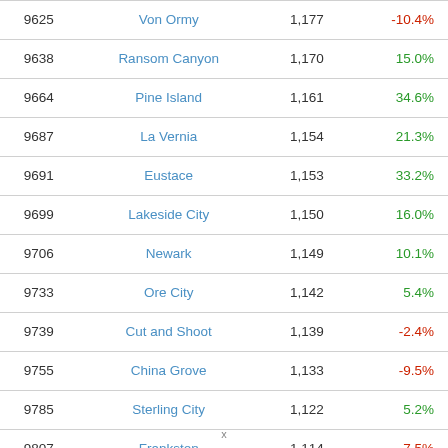| Rank | City | Population | Change |
| --- | --- | --- | --- |
| 9625 | Von Ormy | 1,177 | -10.4% |
| 9638 | Ransom Canyon | 1,170 | 15.0% |
| 9664 | Pine Island | 1,161 | 34.6% |
| 9687 | La Vernia | 1,154 | 21.3% |
| 9691 | Eustace | 1,153 | 33.2% |
| 9699 | Lakeside City | 1,150 | 16.0% |
| 9706 | Newark | 1,149 | 10.1% |
| 9733 | Ore City | 1,142 | 5.4% |
| 9739 | Cut and Shoot | 1,139 | -2.4% |
| 9755 | China Grove | 1,133 | -9.5% |
| 9785 | Sterling City | 1,122 | 5.2% |
| 9807 | Frankston | 1,114 | -7.5% |
| 9825 | Gruver | 1,108 | -4.1% |
x